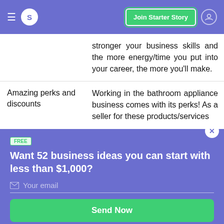S  Join Starter Story
stronger your business skills and the more energy/time you put into your career, the more you'll make.
| Amazing perks and discounts | Working in the bathroom appliance business comes with its perks! As a seller for these products/services |
Want 52 business ideas you can start with less than $1,000?
FREE
Your email
Send Now